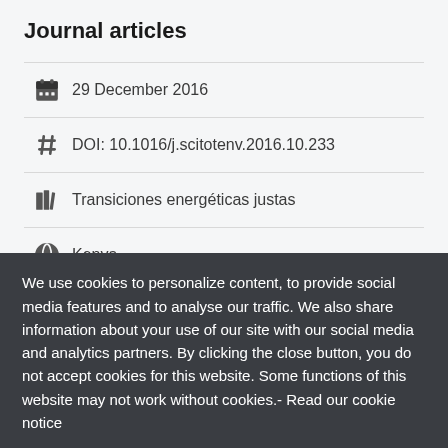Journal articles
29 December 2016
DOI: 10.1016/j.scitotenv.2016.10.233
Transiciones energéticas justas
Kenya
Share
We use cookies to personalize content, to provide social media features and to analyse our traffic. We also share information about your use of our site with our social media and analytics partners. By clicking the close button, you do not accept cookies for this website. Some functions of this website may not work without cookies.- Read our cookie notice